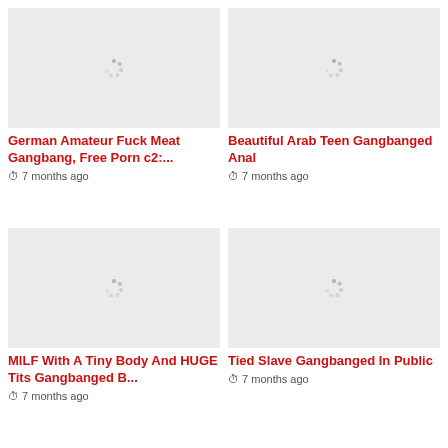[Figure (screenshot): Thumbnail placeholder with loading spinner, light gray background]
German Amateur Fuck Meat Gangbang, Free Porn c2:...
⏱ 7 months ago
[Figure (screenshot): Thumbnail placeholder with loading spinner, light gray background]
Beautiful Arab Teen Gangbanged Anal
⏱ 7 months ago
[Figure (screenshot): Thumbnail placeholder with loading spinner, light gray background]
MILF With A Tiny Body And HUGE Tits Gangbanged B...
⏱ 7 months ago
[Figure (screenshot): Thumbnail placeholder with loading spinner, light gray background]
Tied Slave Gangbanged In Public
⏱ 7 months ago